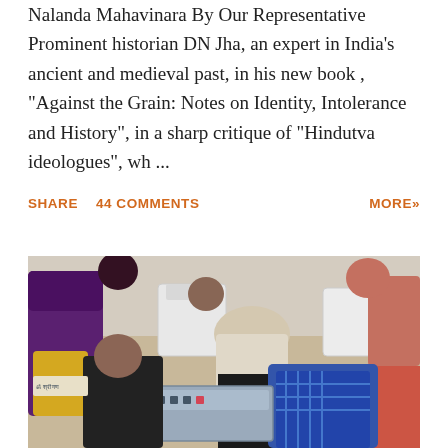Nalanda Mahavinara By Our Representative Prominent historian DN Jha, an expert in India's ancient and medieval past, in his new book , "Against the Grain: Notes on Identity, Intolerance and History", in a sharp critique of "Hindutva ideologues", wh ...
SHARE   44 COMMENTS   MORE»
[Figure (photo): Photo of people at what appears to be a polling or registration station. Several individuals are seated or crouching around electronic voting machines or similar equipment on the floor. White plastic chairs are visible in the background.]